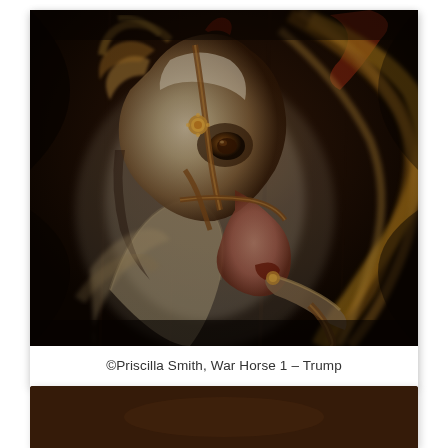[Figure (illustration): A dramatic oil painting of a white war horse with flowing mane, wearing an ornate bridle with gold fittings. The horse's head is turned, showing an expressive eye and flared nostril. The background is very dark brown/black, giving a chiaroscuro effect. The painting style is reminiscent of Baroque masters.]
©Priscilla Smith, War Horse 1 – Trump